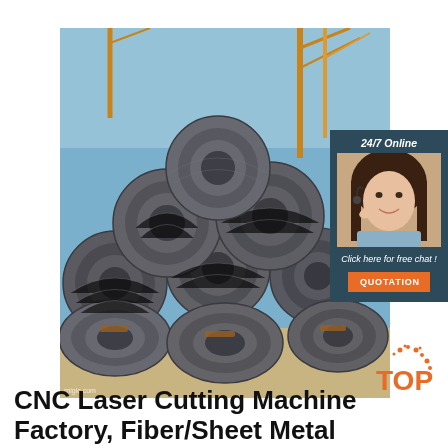[Figure (photo): Stacked coils of steel wire rod with construction cranes visible in the background against a blue sky. Industrial setting with sandy ground.]
[Figure (photo): Customer service agent widget showing a smiling woman with headset, '24/7 Online' text, 'Click here for free chat!' prompt, and an orange QUOTATION button, on a dark teal background.]
[Figure (logo): TOP logo with orange text and decorative dots in orange on white background, bottom right corner.]
CNC Laser Cutting Machine Factory, Fiber/Sheet Metal